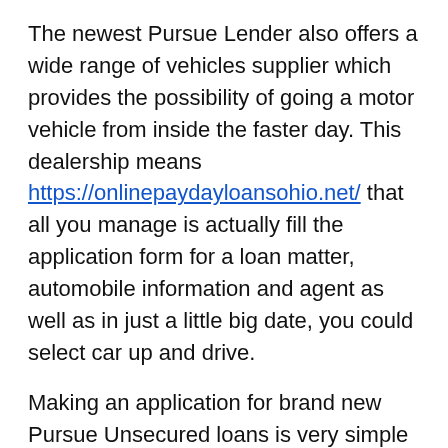The newest Pursue Lender also offers a wide range of vehicles supplier which provides the possibility of going a motor vehicle from inside the faster day. This dealership means https://onlinepaydayloansohio.net/ that all you manage is actually fill the application form for a loan matter, automobile information and agent as well as in just a little big date, you could select car up and drive.
Making an application for brand new Pursue Unsecured loans is very simple and certainly will be performed on line that have much simplicity at spirits of your own domestic in place of visiting the lender. It takes just four fascinating procedures. To try to get this type of fund you must be 18 many years and you may significantly more than, possess a